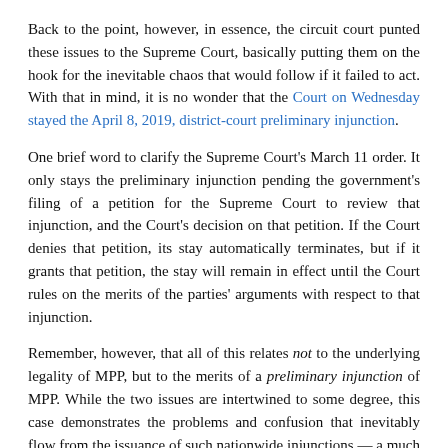Back to the point, however, in essence, the circuit court punted these issues to the Supreme Court, basically putting them on the hook for the inevitable chaos that would follow if it failed to act. With that in mind, it is no wonder that the Court on Wednesday stayed the April 8, 2019, district-court preliminary injunction.
One brief word to clarify the Supreme Court's March 11 order. It only stays the preliminary injunction pending the government's filing of a petition for the Supreme Court to review that injunction, and the Court's decision on that petition. If the Court denies that petition, its stay automatically terminates, but if it grants that petition, the stay will remain in effect until the Court rules on the merits of the parties' arguments with respect to that injunction.
Remember, however, that all of this relates not to the underlying legality of MPP, but to the merits of a preliminary injunction of MPP. While the two issues are intertwined to some degree, this case demonstrates the problems and confusion that inevitably flow from the issuance of such nationwide injunctions — a much more common occurrence under the Trump administration than in the past, as my colleague John Miano noted in January. This is especially true with respect to Trump administrative actions on immigration, a fact my colleague Dan Cadman alluded to in May